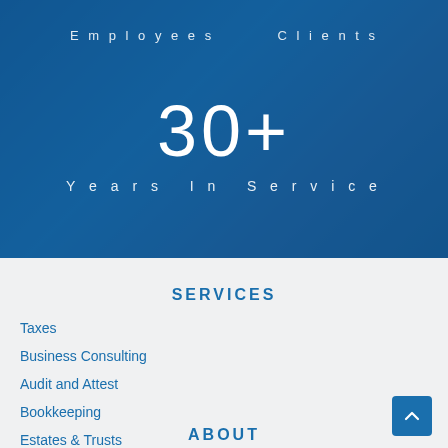Employees
Clients
30+
Years In Service
SERVICES
Taxes
Business Consulting
Audit and Attest
Bookkeeping
Estates & Trusts
ABOUT